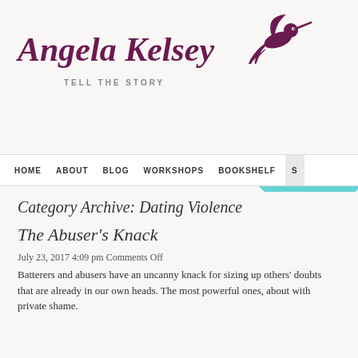[Figure (logo): Angela Kelsey blog logo with hummingbird silhouette and tagline TELL THE STORY]
[Figure (illustration): Decorative overlapping circles in teal, purple, and magenta colors in upper right corner]
HOME   ABOUT   BLOG   WORKSHOPS   BOOKSHELF   S
Category Archive: Dating Violence
The Abuser's Knack
July 23, 2017 4:09 pm Comments Off
Batterers and abusers have an uncanny knack for sizing up others' doubts that are already in our own heads. The most powerful ones, about with private shame.